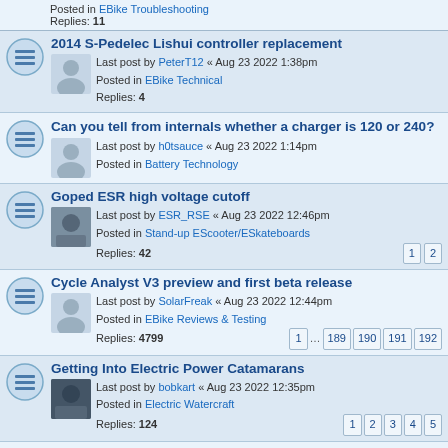Posted in EBike Troubleshooting
Replies: 11
2014 S-Pedelec Lishui controller replacement
Last post by PeterT12 « Aug 23 2022 1:38pm
Posted in EBike Technical
Replies: 4
Can you tell from internals whether a charger is 120 or 240?
Last post by h0tsauce « Aug 23 2022 1:14pm
Posted in Battery Technology
Goped ESR high voltage cutoff
Last post by ESR_RSE « Aug 23 2022 12:46pm
Posted in Stand-up EScooter/ESkateboards
Replies: 42
Cycle Analyst V3 preview and first beta release
Last post by SolarFreak « Aug 23 2022 12:44pm
Posted in EBike Reviews & Testing
Replies: 4799
Getting Into Electric Power Catamarans
Last post by bobkart « Aug 23 2022 12:35pm
Posted in Electric Watercraft
Replies: 124
Bafang M500/M600 thread
Last post by Knetjester « Aug 23 2022 12:28pm